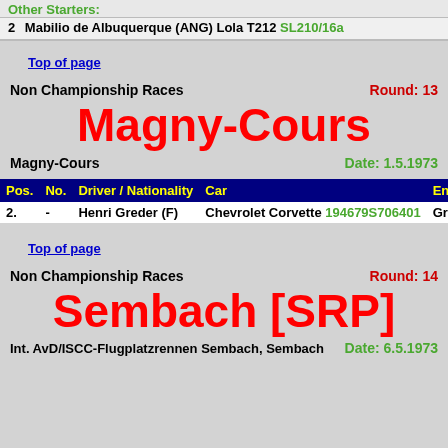Other Starters:
2  Mabilio de Albuquerque (ANG) Lola T212 SL210/16a
Top of page
Non Championship Races    Round: 13
Magny-Cours
Magny-Cours    Date: 1.5.1973
| Pos. | No. | Driver / Nationality | Car | Entrant |
| --- | --- | --- | --- | --- |
| 2. | - | Henri Greder (F) | Chevrolet Corvette 194679S706401 | Greder Racing T |
Top of page
Non Championship Races    Round: 14
Sembach [SRP]
Int. AvD/ISCC-Flugplatzrennen Sembach, Sembach    Date: 6.5.1973